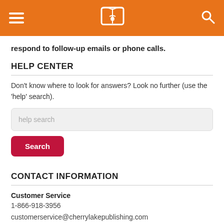Cherry Lake Publishing header with navigation
respond to follow-up emails or phone calls.
HELP CENTER
Don't know where to look for answers? Look no further (use the 'help' search).
CONTACT INFORMATION
Customer Service
1-866-918-3956
customerservice@cherrylakepublishing.com